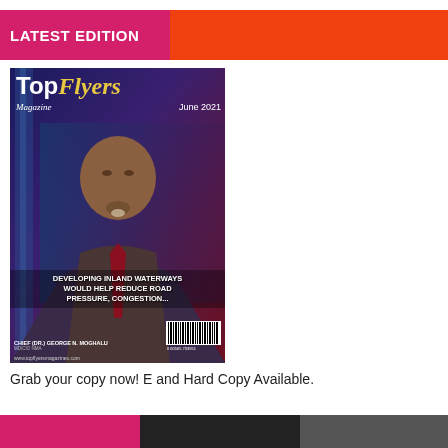LATEST EDITION
[Figure (photo): Magazine cover of TopFlyers Magazine June 2021 featuring Chief (Dr.) George N. Moghalu with headline: DEVELOPING INLAND WATERWAYS WOULD HELP REDUCE ROAD PRESSURE, CONGESTION...]
Grab your copy now! E and Hard Copy Available.